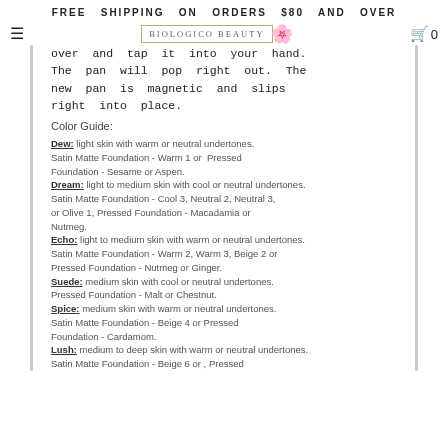FREE SHIPPING ON ORDERS $80 AND OVER
[Figure (logo): Biologico Beauty logo with floral decoration]
over and tap it into your hand. The pan will pop right out. The new pan is magnetic and slips right into place.
Color Guide:
Dew: light skin with warm or neutral undertones. Satin Matte Foundation - Warm 1 or Pressed Foundation - Sesame or Aspen. Dream: light to medium skin with cool or neutral undertones. Satin Matte Foundation - Cool 3, Neutral 2, Neutral 3, or Olive 1, Pressed Foundation - Macadamia or Nutmeg. Echo: light to medium skin with warm or neutral undertones. Satin Matte Foundation - Warm 2, Warm 3, Beige 2 or Pressed Foundation - Nutmeg or Ginger. Suede: medium skin with cool or neutral undertones. Pressed Foundation - Malt or Chestnut. Spice: medium skin with warm or neutral undertones. Satin Matte Foundation - Beige 4 or Pressed Foundation - Cardamom. Lush: medium to deep skin with warm or neutral undertones. Satin Matte Foundation - Beige 6 or , Pressed